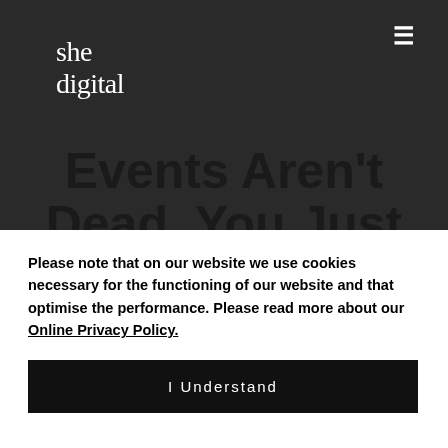she digital
Events Aren't Dead. You Just
Please note that on our website we use cookies necessary for the functioning of our website and that optimise the performance. Please read more about our Online Privacy Policy.
I Understand